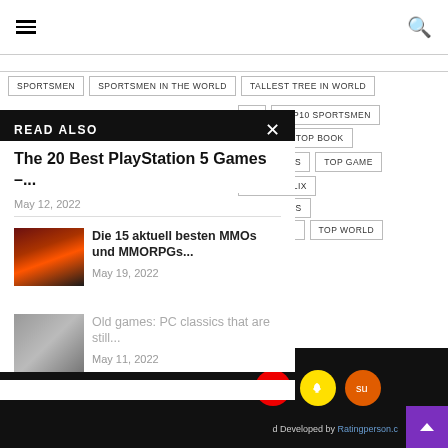☰  🔍
SPORTSMEN
SPORTSMEN IN THE WORLD
TALLEST TREE IN WORLD
22
TOP10 SPORTSMEN
AZON
TOP BOOK
TOP FOODS
TOP GAME
TOP NETFLIX
TOP SONGS
TOP SÓNG
TOP WORLD
READ ALSO
The 20 Best PlayStation 5 Games –...
May 12, 2022
Die 15 aktuell besten MMOs und MMORPGs...
May 19, 2022
Old games: PC classics that are still...
May 11, 2022
d Developed by Ratingperson.c